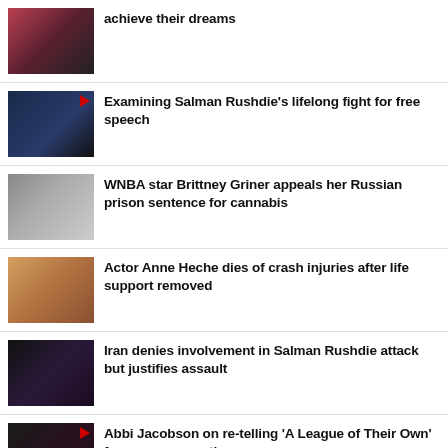achieve their dreams
Examining Salman Rushdie's lifelong fight for free speech
WNBA star Brittney Griner appeals her Russian prison sentence for cannabis
Actor Anne Heche dies of crash injuries after life support removed
Iran denies involvement in Salman Rushdie attack but justifies assault
Abbi Jacobson on re-telling 'A League of Their Own' for a new generation